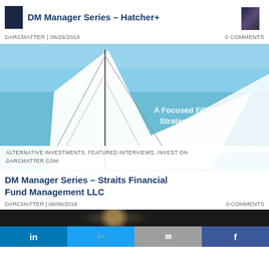DM Manager Series – Hatcher+
DARCMATTER | 06/29/2018    0 COMMENTS
[Figure (photo): Sailboat sails against blue sky with overlaid text 'A Focused FCM with Strategic, Global Par...']
ALTERNATIVE INVESTMENTS, FEATURED INTERVIEWS, INVEST ON DARCMATTER.COM
DM Manager Series – Straits Financial Fund Management LLC
DARCMATTER | 06/06/2018    0 COMMENTS
[Figure (photo): Partially visible dark background image with person, and social media sharing buttons (LinkedIn, Twitter, email, Facebook) at bottom]